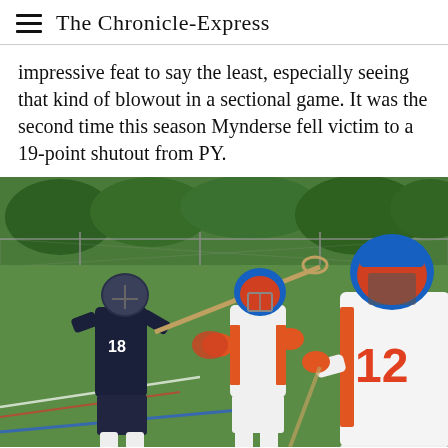The Chronicle-Express
impressive feat to say the least, especially seeing that kind of blowout in a sectional game. It was the second time this season Mynderse fell victim to a 19-point shutout from PY.
[Figure (photo): Lacrosse game action photo showing two players from opposing teams — one in dark navy uniform and one in white/orange uniform — battling with lacrosse sticks, with a third player wearing jersey number 12 in the foreground right, on a blue-lined turf field with a chain-link fence and trees in the background.]